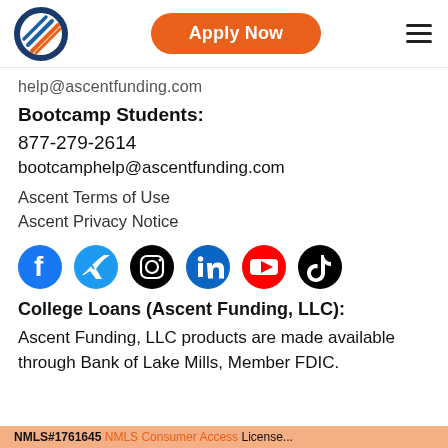[Figure (logo): Ascent Funding circular logo with diagonal lightning bolt lines in blue and orange]
Apply Now
help@ascentfunding.com
Bootcamp Students:
877-279-2614
bootcamphelp@ascentfunding.com
Ascent Terms of Use
Ascent Privacy Notice
[Figure (illustration): Social media icons row: Facebook, Twitter, Instagram, LinkedIn, YouTube, TikTok]
College Loans (Ascent Funding, LLC):
Ascent Funding, LLC products are made available through Bank of Lake Mills, Member FDIC.
NMLS#1761645 NMLS Consumer Access License